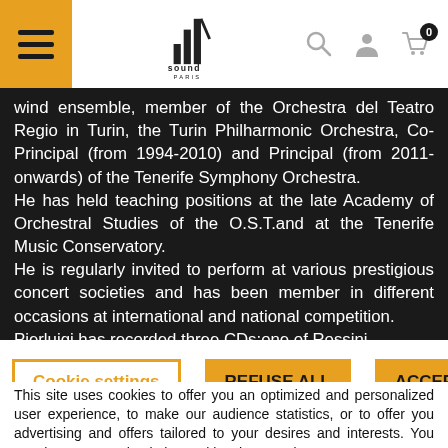JLV Sound Paris — navigation header with menu, logo, search, account, and cart icons
wind ensemble, member of the Orchestra del Teatro Regio in Turin, the Turin Philharmonic Orchestra, Co-Principal (from 1994-2010) and Principal (from 2011-onwards) of the Tenerife Symphony Orchestra.
He has held teaching positions at the late Academy of Orchestral Studies of the O.S.T.and at the Tenerife Music Conservatory.
He is regularly invited to perform at various prestigious concert societies and has been member in different occasions at international and national competition.
Pierluigi has recorded three CDs:one of Rossini
Cookie settings | REFUSE ALL | ACCEPT ALL
This site uses cookies to offer you an optimized and personalized user experience, to make our audience statistics, or to offer you advertising and offers tailored to your desires and interests. You can, however, uncheck the cookies that you do not want us to use.
Terms of use of these cookies